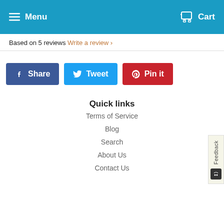Menu   Cart
Based on 5 reviews  Write a review ›
[Figure (other): Social sharing buttons: Facebook Share, Twitter Tweet, Pinterest Pin it]
Quick links
Terms of Service
Blog
Search
About Us
Contact Us